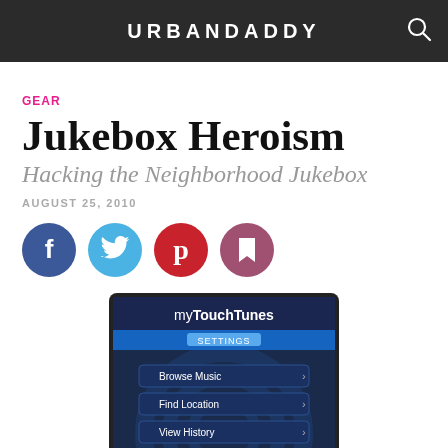URBANDADDY
GEAR
Jukebox Heroism
Hacking the Neighborhood Jukebox
AUGUST 25, 2010
[Figure (screenshot): myTouchTunes app screenshot showing Settings screen with Browse Music, Find Location, and View History menu items on a dark blue background with swirl pattern]
[Figure (infographic): Social media share buttons row: Facebook (blue circle), Twitter (light blue circle), Pinterest (red circle), Bookmark/Save (dark pink circle)]